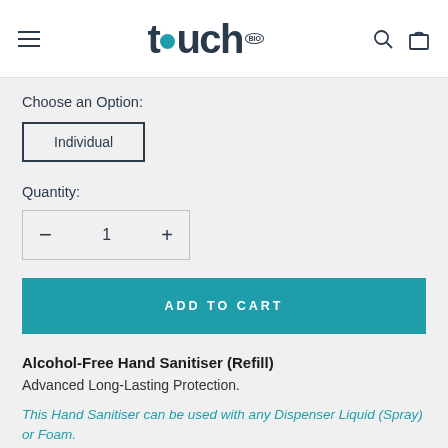touch BIO — navigation header with hamburger menu, logo, search and cart icons
Choose an Option:
Individual
Quantity:
− 1 +
ADD TO CART
Alcohol-Free Hand Sanitiser (Refill)
Advanced Long-Lasting Protection.
This Hand Sanitiser can be used with any Dispenser Liquid (Spray) or Foam.